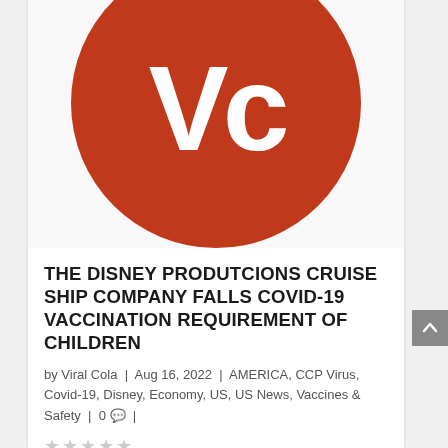[Figure (logo): Viral Cola logo: orange-red circle with white 'VC' letters in bold sans-serif]
THE DISNEY PRODUTCIONS CRUISE SHIP COMPANY FALLS COVID-19 VACCINATION REQUIREMENT OF CHILDREN
by Viral Cola | Aug 16, 2022 | AMERICA, CCP Virus, Covid-19, Disney, Economy, US, US News, Vaccines & Safety | 0 💬 |
[Figure (other): Five empty star rating icons]
READ MORE